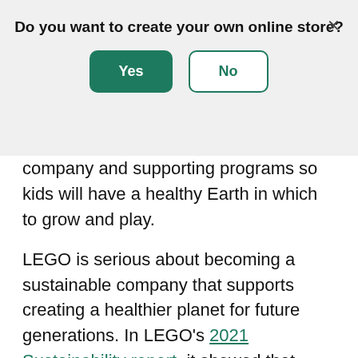Do you want to create your own online store?
company and supporting programs so kids will have a healthy Earth in which to grow and play.
LEGO is serious about becoming a sustainable company that supports creating a healthier planet for future generations. In LEGO's 2021 Sustainability report, it showed that LEGO factories expanded the company's commitment to using renewable energy by 98% compared to 2020. It also revealed that LEGO has created a prototype LEGO brick made from recycled